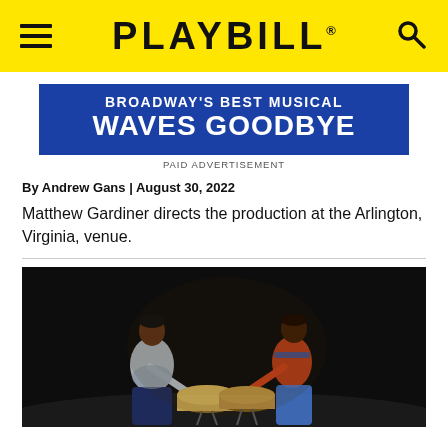PLAYBILL
[Figure (other): Advertisement banner: Broadway's Best Musical Waves Goodbye - Paid Advertisement]
PAID ADVERTISEMENT
By Andrew Gans | August 30, 2022
Matthew Gardiner directs the production at the Arlington, Virginia, venue.
[Figure (photo): Two performers facing each other over drums on a dark stage, both holding drumsticks in an intense scene from a theatrical production.]